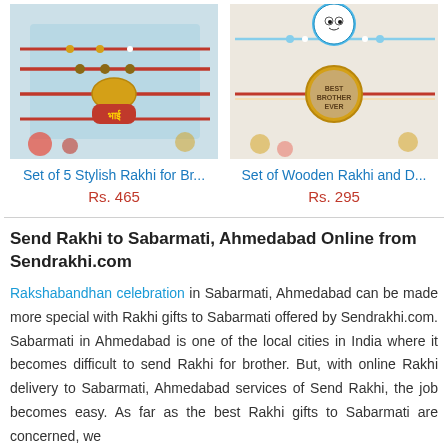[Figure (photo): Product photo of Set of 5 Stylish Rakhi for Brothers on a light blue background with decorative elements]
[Figure (photo): Product photo of Set of Wooden Rakhi and Doraemon Rakhi on a beige background]
Set of 5 Stylish Rakhi for Br...
Rs. 465
Set of Wooden Rakhi and D...
Rs. 295
Send Rakhi to Sabarmati, Ahmedabad Online from Sendrakhi.com
Rakshabandhan celebration in Sabarmati, Ahmedabad can be made more special with Rakhi gifts to Sabarmati offered by Sendrakhi.com. Sabarmati in Ahmedabad is one of the local cities in India where it becomes difficult to send Rakhi for brother. But, with online Rakhi delivery to Sabarmati, Ahmedabad services of Send Rakhi, the job becomes easy. As far as the best Rakhi gifts to Sabarmati are concerned, we